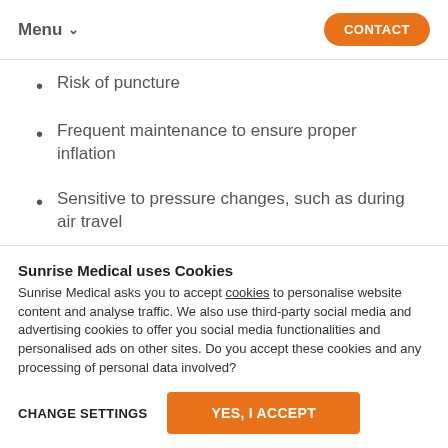Menu CONTACT
Risk of puncture
Frequent maintenance to ensure proper inflation
Sensitive to pressure changes, such as during air travel
Sunrise Medical uses Cookies
Sunrise Medical asks you to accept cookies to personalise website content and analyse traffic. We also use third-party social media and advertising cookies to offer you social media functionalities and personalised ads on other sites. Do you accept these cookies and any processing of personal data involved?
CHANGE SETTINGS
YES, I ACCEPT